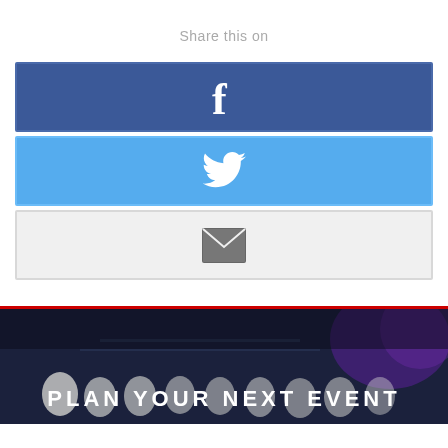Share this on
[Figure (infographic): Facebook share button - dark blue button with white Facebook 'f' icon]
[Figure (infographic): Twitter share button - light blue button with white Twitter bird icon]
[Figure (infographic): Email share button - light gray button with gray envelope icon]
[Figure (photo): Event venue banner showing a banquet hall with white chair covers, purple lighting, and text 'PLAN YOUR NEXT EVENT']